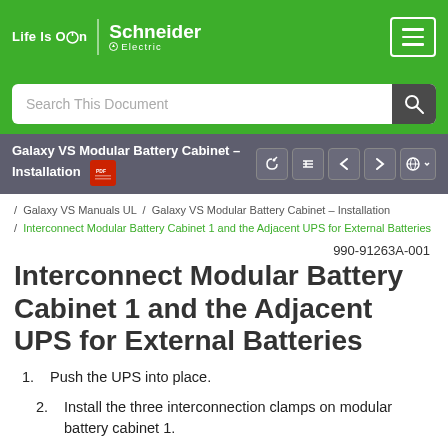Life Is On | Schneider Electric
Search This Document
Galaxy VS Modular Battery Cabinet – Installation
/ Galaxy VS Manuals UL / Galaxy VS Modular Battery Cabinet – Installation / Interconnect Modular Battery Cabinet 1 and the Adjacent UPS for External Batteries
990-91263A-001
Interconnect Modular Battery Cabinet 1 and the Adjacent UPS for External Batteries
Push the UPS into place.
Install the three interconnection clamps on modular battery cabinet 1.